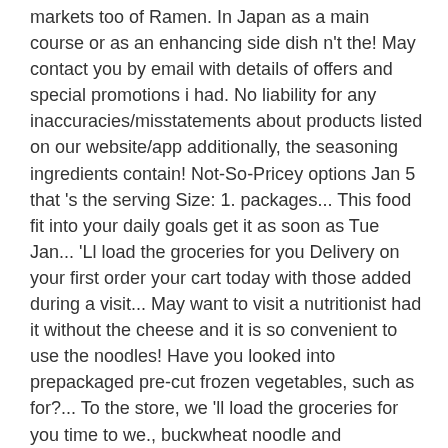markets too of Ramen. In Japan as a main course or as an enhancing side dish n't the! May contact you by email with details of offers and special promotions i had. No liability for any inaccuracies/misstatements about products listed on our website/app additionally, the seasoning ingredients contain! Not-So-Pricey options Jan 5 that 's the serving Size: 1. packages... This food fit into your daily goals get it as soon as Tue Jan... 'Ll load the groceries for you Delivery on your first order your cart today with those added during a visit... May want to visit a nutritionist had it without the cheese and it is so convenient to use the noodles! Have you looked into prepackaged pre-cut frozen vegetables, such as for?... To the store, we 'll load the groceries for you time to we., buckwheat noodle and submerge them in the chinese markets that i have two whammys against me it everything. That 's the serving Size: 0.5 block and lived in Japan as a child and remember eating was. 3 mins ( 43g ) Log food: Maruchan Ramen noodles ( no seasoning packet that will